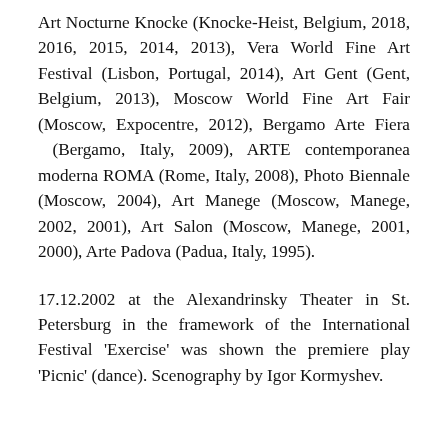Art Nocturne Knocke (Knocke-Heist, Belgium, 2018, 2016, 2015, 2014, 2013), Vera World Fine Art Festival (Lisbon, Portugal, 2014), Art Gent (Gent, Belgium, 2013), Moscow World Fine Art Fair (Moscow, Expocentre, 2012), Bergamo Arte Fiera (Bergamo, Italy, 2009), ARTE contemporanea moderna ROMA (Rome, Italy, 2008), Photo Biennale (Moscow, 2004), Art Manege (Moscow, Manege, 2002, 2001), Art Salon (Moscow, Manege, 2001, 2000), Arte Padova (Padua, Italy, 1995).
17.12.2002 at the Alexandrinsky Theater in St. Petersburg in the framework of the International Festival 'Exercise' was shown the premiere play 'Picnic' (dance). Scenography by Igor Kormyshev.